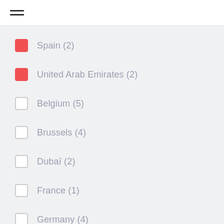Menu
Spain (2)
United Arab Emirates (2)
Belgium (5)
Brussels (4)
Dubaï (2)
France (1)
Germany (4)
Ireland (2)